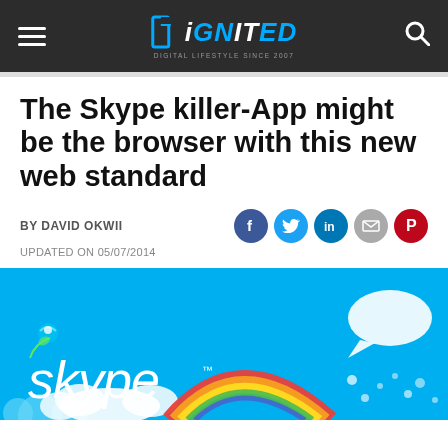DiGNITED
The Skype killer-App might be the browser with this new web standard
BY DAVID OKWII
UPDATED ON 05/07/2014
[Figure (photo): Skype logo on bright blue background with white speech bubble and rainbow arc]